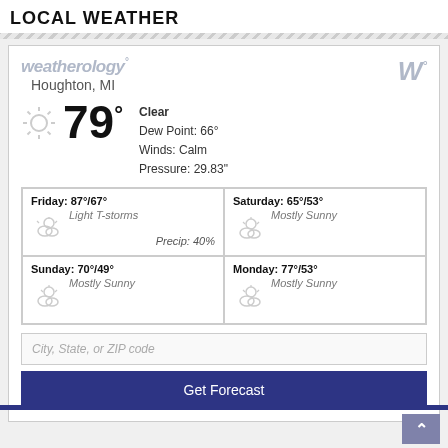LOCAL WEATHER
[Figure (screenshot): Weatherology weather widget showing current conditions for Houghton, MI: 79°F, Clear, Dew Point 66°, Winds Calm, Pressure 29.83". Forecast cards for Friday (87°/67°, Light T-storms, Precip 40%), Saturday (65°/53°, Mostly Sunny), Sunday (70°/49°, Mostly Sunny), Monday (77°/53°, Mostly Sunny). Search field for City, State, or ZIP code and Get Forecast button.]